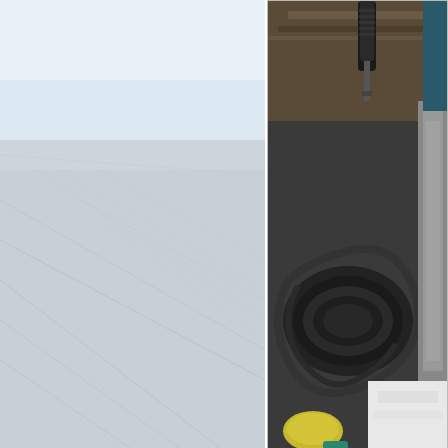[Figure (photo): Close-up view of a boat hull or deck wrapped in white/light grey plastic sheeting or cover, showing crinkled texture. The image spans the left side vertically covering top and bottom left areas.]
[Figure (photo): Interior boat equipment scene showing coiled black cables/hoses, a yellow/green fender, and what appears to be a tool or handle against a wooden surface and white boat interior.]
Boats with nobody on board are wrapped with barbed wire. Unw
[Figure (photo): Distant view of a sailboat or vessel on calm water under a hazy sky with faint sail or mast lines visible.]